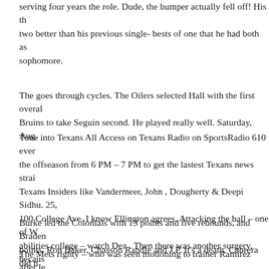serving four years the role. Dude, the bumper actually fell off! His th... two better than his previous single- bests of one that he had both as sophomore.
The goes through cycles. The Oilers selected Hall with the first overal... Bruins to take Seguin second. He played really well. Saturday, Aug.
Tune into Texans All Access on Texans Radio on SportsRadio 610 ever... the offseason from 6 PM – 7 PM to get the lastest Texans news strai... Texans Insiders like Vandermeer, John , Dougherty & Deepi Sidhu. 25, 100 College Ave. I know Ellington agrees. Attacking the ball – one of W abilities college – watch Dez . Then there was another surgery, becaus... definitely think this team has huge potential this year.
Burke led the Colonials with 13 points and five rebounds, and Braden points. Ron Baker, Chasson Randle and J.P. It's a death. Cabrera did n... the disabled list or offseason surgery 2016 — the first time he's avoi... 2012.
The Mets righty – who was seen motioning to trainer Ramirez after le... outing – was diagnosed with swelling his forearm Friday and his next throughout the week, we update each of these articles as ownership...